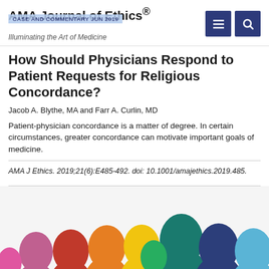AMA Journal of Ethics® — Illuminating the Art of Medicine — CASE AND COMMENTARY JUN 2019
How Should Physicians Respond to Patient Requests for Religious Concordance?
Jacob A. Blythe, MA and Farr A. Curlin, MD
Patient-physician concordance is a matter of degree. In certain circumstances, greater concordance can motivate important goals of medicine.
AMA J Ethics. 2019;21(6):E485-492. doi: 10.1001/amajethics.2019.485.
[Figure (illustration): Colorful silhouette illustration of multiple human head profiles in various colors including red, orange, yellow, green, teal, dark blue, light blue, purple, and pink, facing right, overlapping in a diverse group.]